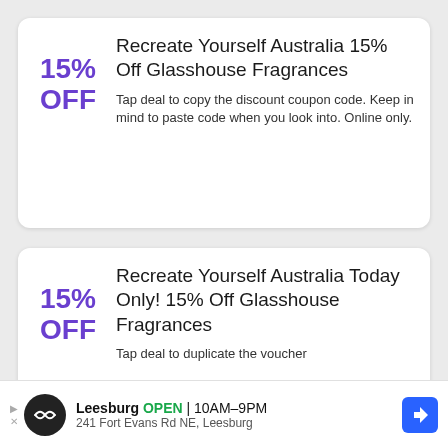[Figure (infographic): Coupon card 1: '15% OFF' in purple on the left, title 'Recreate Yourself Australia 15% Off Glasshouse Fragrances', description text below title.]
Recreate Yourself Australia 15% Off Glasshouse Fragrances
Tap deal to copy the discount coupon code. Keep in mind to paste code when you look into. Online only.
[Figure (infographic): Coupon card 2: '15% OFF' in purple on the left, title 'Recreate Yourself Australia Today Only! 15% Off Glasshouse Fragrances', partial description visible.]
Recreate Yourself Australia Today Only! 15% Off Glasshouse Fragrances
Tap deal to duplicate the voucher
[Figure (infographic): Ad banner at the bottom: Leesburg OPEN 10AM-9PM, 241 Fort Evans Rd NE, Leesburg, with logo and navigation arrow icon.]